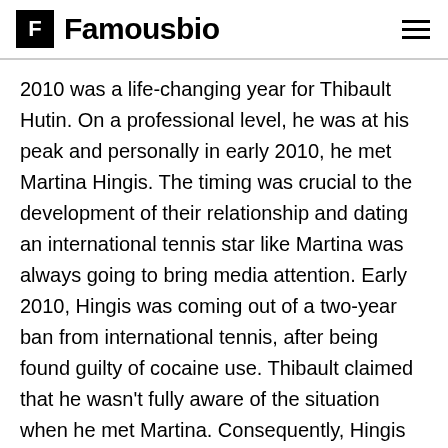F Famousbio
2010 was a life-changing year for Thibault Hutin. On a professional level, he was at his peak and personally in early 2010, he met Martina Hingis. The timing was crucial to the development of their relationship and dating an international tennis star like Martina was always going to bring media attention. Early 2010, Hingis was coming out of a two-year ban from international tennis, after being found guilty of cocaine use. Thibault claimed that he wasn't fully aware of the situation when he met Martina. Consequently, Hingis also broke off her engagement with Swiss Attorney